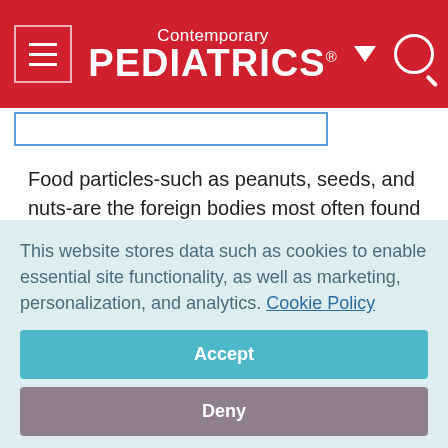Contemporary PEDIATRICS
Food particles-such as peanuts, seeds, and nuts-are the foreign bodies most often found in the airway.6-8 Toy parts are the next most common aspirated objects.
Most ingestions and aspirations of a foreign body occur in developmentally normal children in their own home, under
This website stores data such as cookies to enable essential site functionality, as well as marketing, personalization, and analytics. Cookie Policy
Accept
Deny